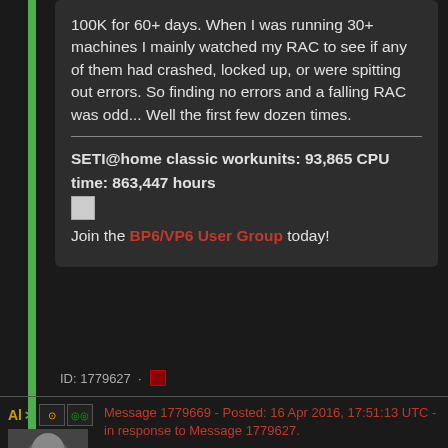100K for 60+ days. When I was running 30+ machines I mainly watched my RAC to see if any of them had crashed, locked up, or were spitting out errors. So finding no errors and a falling RAC was odd... Well the first few dozen times.
SETI@home classic workunits: 93,865 CPU time: 863,447 hours
Join the BP6/VP6 User Group today!
ID: 1779627 ·
Message 1779669 - Posted: 16 Apr 2016, 17:51:13 UTC - in response to Message 1779627.